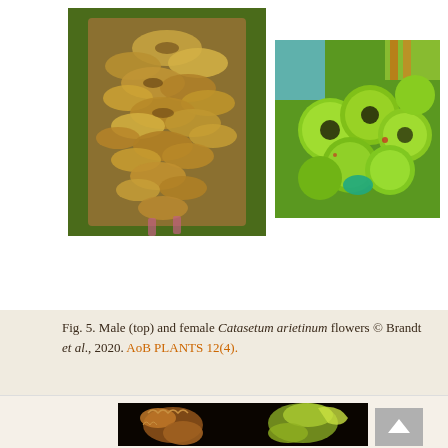[Figure (photo): Close-up photograph of male Catasetum arietinum flowers showing dense cluster of yellowish-brown blooms with dark markings]
[Figure (photo): Close-up photograph of female Catasetum arietinum flowers showing bright green rounded blooms with dark centers]
Fig. 5. Male (top) and female Catasetum arietinum flowers © Brandt et al., 2020. AoB PLANTS 12(4).
[Figure (photo): Close-up photograph on black background showing detailed structure of Catasetum arietinum flowers]